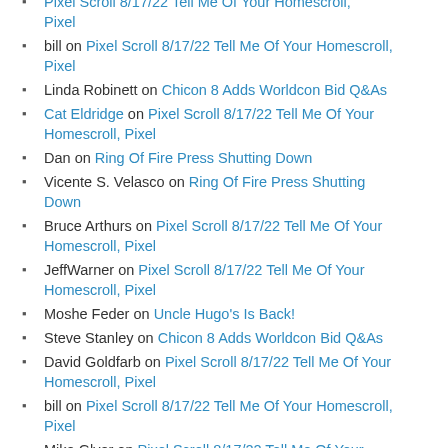bill on Pixel Scroll 8/17/22 Tell Me Of Your Homescroll, Pixel
Linda Robinett on Chicon 8 Adds Worldcon Bid Q&As
Cat Eldridge on Pixel Scroll 8/17/22 Tell Me Of Your Homescroll, Pixel
Dan on Ring Of Fire Press Shutting Down
Vicente S. Velasco on Ring Of Fire Press Shutting Down
Bruce Arthurs on Pixel Scroll 8/17/22 Tell Me Of Your Homescroll, Pixel
JeffWarner on Pixel Scroll 8/17/22 Tell Me Of Your Homescroll, Pixel
Moshe Feder on Uncle Hugo's Is Back!
Steve Stanley on Chicon 8 Adds Worldcon Bid Q&As
David Goldfarb on Pixel Scroll 8/17/22 Tell Me Of Your Homescroll, Pixel
bill on Pixel Scroll 8/17/22 Tell Me Of Your Homescroll, Pixel
Mike Glyer on Pixel Scroll 8/17/22 Tell Me Of Your Homescroll, Pixel
gottacook on Pixel Scroll 8/17/22 Tell Me Of Your